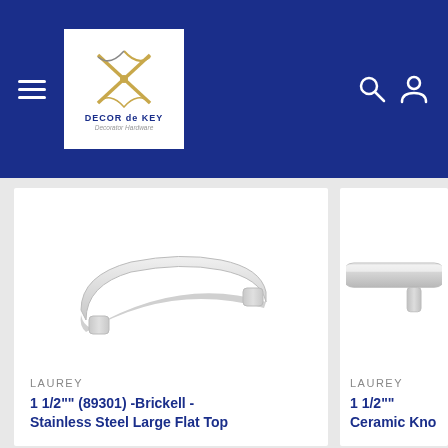[Figure (logo): DECOR de KEY logo with decorative bird/key emblem on white background, inside blue navigation bar]
[Figure (photo): Stainless steel large flat top cabinet pull handle on white background]
LAUREY
1 1/2"" (89301) -Brickell - Stainless Steel Large Flat Top
[Figure (photo): Partial view of a cylindrical T-bar cabinet pull handle on white background]
LAUREY
1 1/2"" Ceramic Kno